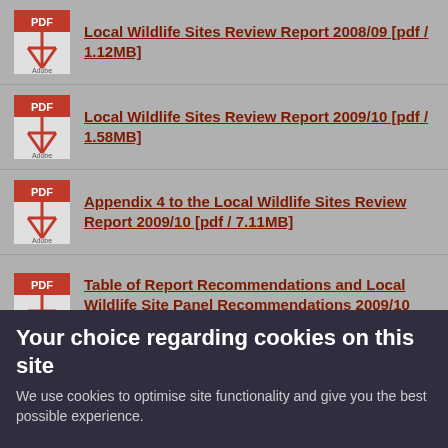Local Wildlife Sites Review Report 2008/09 [pdf / 1.12MB]
Local Wildlife Sites Review Report 2009/10 [pdf / 1.58MB]
Appendix 4 to the Local Wildlife Sites Review Report 2009/10 [pdf / 7.11MB]
Table of Report Recommendations and Local Wildlife Site Panel Recommendations 2009/10 [pdf / 23KB]
Local Wildlife Sites Review Report 2010/11
Your choice regarding cookies on this site
We use cookies to optimise site functionality and give you the best possible experience.